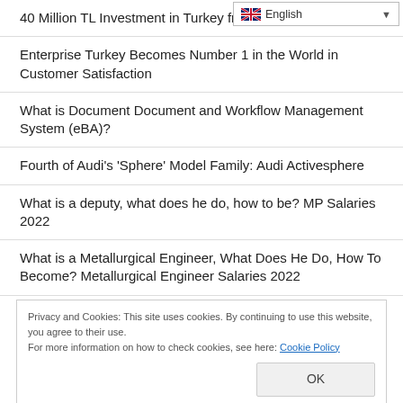[Figure (screenshot): Language selector dropdown showing English with flag icon]
40 Million TL Investment in Turkey from Sharz.net.
Enterprise Turkey Becomes Number 1 in the World in Customer Satisfaction
What is Document Document and Workflow Management System (eBA)?
Fourth of Audi's 'Sphere' Model Family: Audi Activesphere
What is a deputy, what does he do, how to be? MP Salaries 2022
What is a Metallurgical Engineer, What Does He Do, How To Become? Metallurgical Engineer Salaries 2022
Privacy and Cookies: This site uses cookies. By continuing to use this website, you agree to their use. For more information on how to check cookies, see here: Cookie Policy
What is an Executive Officer, What Does He Do, How To